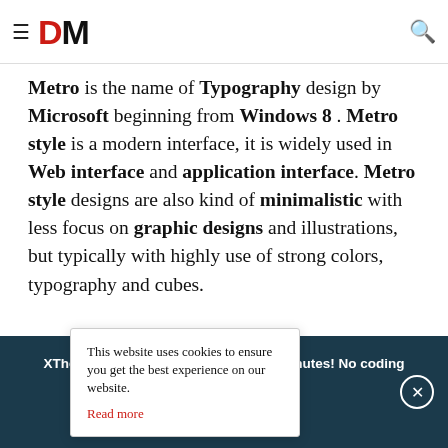DM (logo with hamburger menu and search icon)
Metro is the name of Typography design by Microsoft beginning from Windows 8. Metro style is a modern interface, it is widely used in Web interface and application interface. Metro style designs are also kind of minimalistic with less focus on graphic designs and illustrations, but typically with highly use of strong colors, typography and cubes.
[Figure (screenshot): Cookie consent popup over a dark background image with purple Google logo tile. Text: 'This website uses cookies to ensure you get the best experience on our website. Read more']
XTheme - Create your perfect site in minutes! No coding required | GET IT NOW!